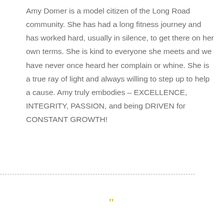Amy Domer is a model citizen of the Long Road community. She has had a long fitness journey and has worked hard, usually in silence, to get there on her own terms. She is kind to everyone she meets and we have never once heard her complain or whine. She is a true ray of light and always willing to step up to help a cause. Amy truly embodies – EXCELLENCE, INTEGRITY, PASSION, and being DRIVEN for CONSTANT GROWTH!
[Figure (other): Yellow/gold open double quotation mark decorative element at bottom center of page, with a dashed horizontal line above it]